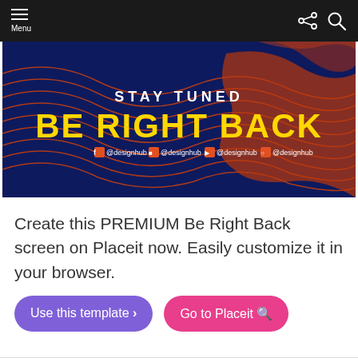Menu
[Figure (screenshot): Dark navy and orange wavy abstract background banner reading STAY TUNED / BE RIGHT BACK in white and yellow bold text, with social media handles @designhub listed below]
Create this PREMIUM Be Right Back screen on Placeit now. Easily customize it in your browser.
Use this template >
Go to Placeit